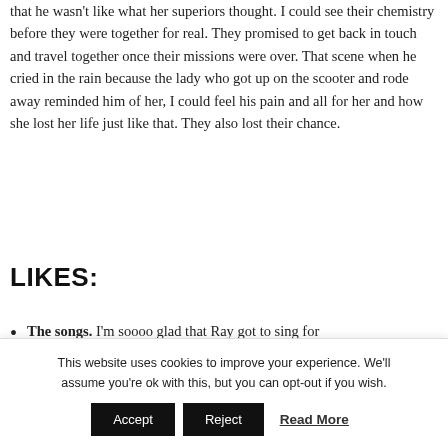that he wasn't like what her superiors thought. I could see their chemistry before they were together for real. They promised to get back in touch and travel together once their missions were over. That scene when he cried in the rain because the lady who got up on the scooter and rode away reminded him of her, I could feel his pain and all for her and how she lost her life just like that. They also lost their chance.
LIKES:
The songs. I'm soooo glad that Ray got to sing for
This website uses cookies to improve your experience. We'll assume you're ok with this, but you can opt-out if you wish.